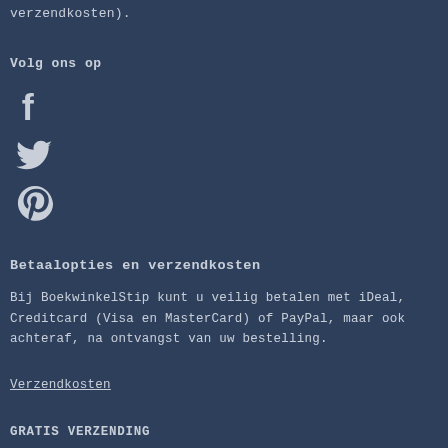verzendkosten).
Volg ons op
[Figure (illustration): Facebook icon (f logo) in white on dark blue background]
[Figure (illustration): Twitter icon (bird logo) in white on dark blue background]
[Figure (illustration): Pinterest icon (P logo) in white on dark blue background]
Betaalopties en verzendkosten
Bij BoekwinkelStip kunt u veilig betalen met iDeal, Creditcard (Visa en MasterCard) of PayPal, maar ook achteraf, na ontvangst van uw bestelling.
Verzendkosten
GRATIS VERZENDING